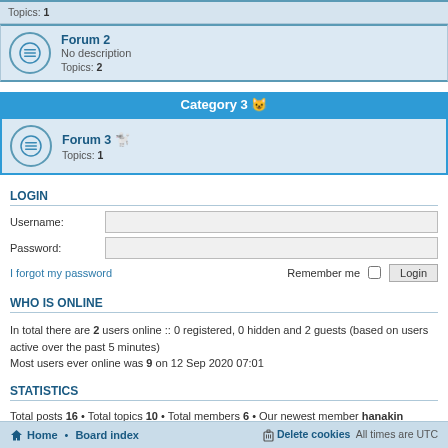Topics: 1
Forum 2
No description
Topics: 2
Category 3 🐱
Forum 3 🐱
Topics: 1
LOGIN
Username:
Password:
I forgot my password   Remember me   Login
WHO IS ONLINE
In total there are 2 users online :: 0 registered, 0 hidden and 2 guests (based on users active over the past 5 minutes)
Most users ever online was 9 on 12 Sep 2020 07:01
STATISTICS
Total posts 16 • Total topics 10 • Total members 6 • Our newest member hanakin
🏠 Home • Board index    🗑 Delete cookies   All times are UTC